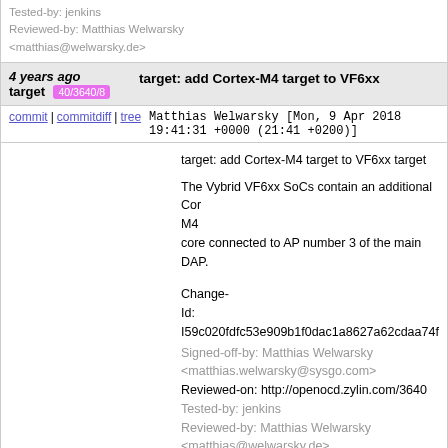Tested-by: jenkins
Reviewed-by: Matthias Welwarsky <matthias@welwarsky.de>
4 years ago target 40/3640/8  target: add Cortex-M4 target to VF6xx
commit | commitdiff | tree   Matthias Welwarsky [Mon, 9 Apr 2018 19:41:31 +0000 (21:41 +0200)]
target: add Cortex-M4 target to VF6xx target

The Vybrid VF6xx SoCs contain an additional Cortex-M4
core connected to AP number 3 of the main DAP.

Change-Id: I59c020fdfc53e909b1f0dac1a8627a62cdaa74f
Signed-off-by: Matthias Welwarsky <matthias.welwarsky@sysgo.com>
Reviewed-on: http://openocd.zylin.com/3640
Tested-by: jenkins
Reviewed-by: Matthias Welwarsky <matthias@welwarsky.de>
4 years ago breakpoint 29/4429/9  target/cortex_m: allow setting the type of a
commit | commitdiff | tree   Tomas Vanek [Thu, 22 Feb 2018 23:12:50 +0000 (00:12 +0100)]